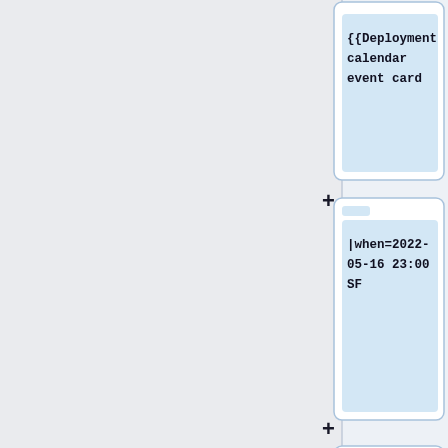[Figure (screenshot): A vertical flowchart/diagram showing template code blocks connected by plus signs. The blocks are: '{{Deployment calendar event card', '|when=2022-05-16 23:00 SF', '|length=0.5', '|window=Primary database switchover', '|who={{ircnick|kormat|Stevie Beth ...}}'. Each block is a white rounded card with a blue-tinted code area and a small blue tab at top-left. Plus signs connect the blocks on the left side.]